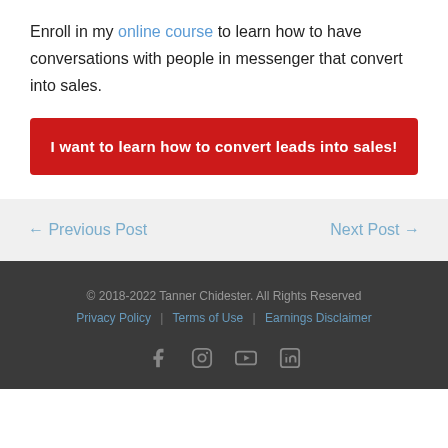Enroll in my online course to learn how to have conversations with people in messenger that convert into sales.
I want to learn how to convert leads into sales!
← Previous Post
Next Post →
© 2018-2022 Tanner Chidester. All Rights Reserved
Privacy Policy | Terms of Use | Earnings Disclaimer